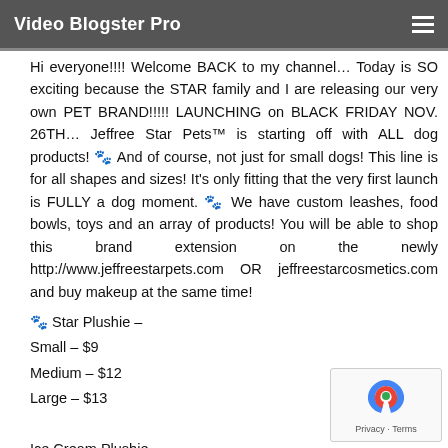Video Blogster Pro
Hi everyone!!!! Welcome BACK to my channel… Today is SO exciting because the STAR family and I are releasing our very own PET BRAND!!!!! LAUNCHING on BLACK FRIDAY NOV. 26TH… Jeffree Star Pets™ is starting off with ALL dog products! 🐾 And of course, not just for small dogs! This line is for all shapes and sizes! It's only fitting that the very first launch is FULLY a dog moment. 🐾 We have custom leashes, food bowls, toys and an array of products! You will be able to shop this brand extension on the newly http://www.jeffreestarpets.com OR jeffreestarcosmetics.com and buy makeup at the same time!
🐾 Star Plushie –
Small – $9
Medium – $12
Large – $13
Ice Cream Plushie –